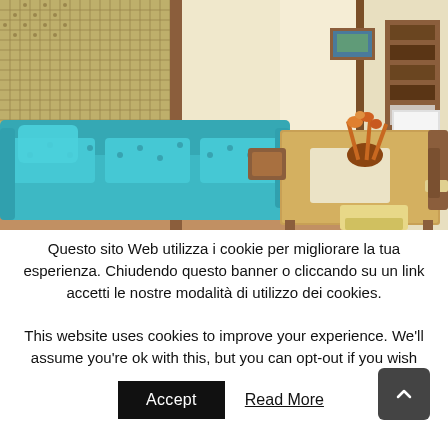[Figure (photo): Interior photo of a hotel or apartment room showing a teal/turquoise sofa on the left, a wooden dining table with chairs and a floral arrangement in the center-right, a decorative lattice screen partition, wooden shelving unit and kitchen area in the background, and a framed picture on the wall.]
Questo sito Web utilizza i cookie per migliorare la tua esperienza. Chiudendo questo banner o cliccando su un link accetti le nostre modalità di utilizzo dei cookies. This website uses cookies to improve your experience. We'll assume you're ok with this, but you can opt-out if you wish